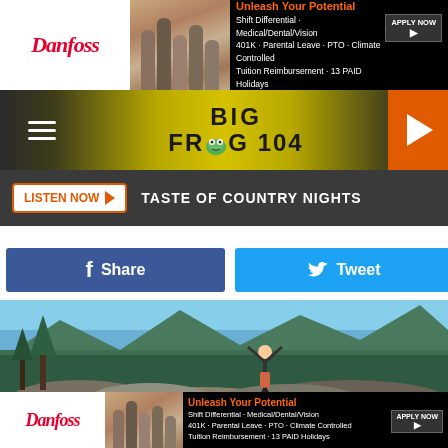[Figure (screenshot): Danfoss advertisement banner with logo, people, and text: Unleash Your Potential, Shift Differential, Medical/Dental/Vision, 401K, Parental Leave, PTO, Climate Controlled, Tuition Reimbursement, 13 PAID Holidays, APPLY NOW]
[Figure (logo): Big Frog 104 radio station header with hamburger menu, logo, and play button]
LISTEN NOW ▶   TASTE OF COUNTRY NIGHTS
f Share
Tweet
[Figure (photo): Hiker with backpack standing on rocks with arms raised, surrounded by forest and mountains]
Credit · Think Stock
Take a Hike
[Figure (screenshot): Danfoss advertisement banner bottom: Unleash Your Potential, Shift Differential, Medical/Dental/Vision, 401K, Parental Leave, PTO, Climate Controlled, Tuition Reimbursement, 13 PAID Holidays, APPLY NOW]